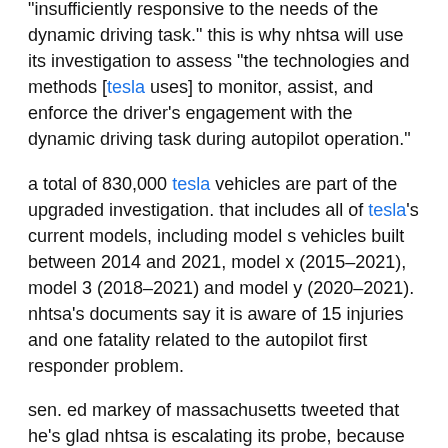"insufficiently responsive to the needs of the dynamic driving task." this is why nhtsa will use its investigation to assess "the technologies and methods [tesla uses] to monitor, assist, and enforce the driver's engagement with the dynamic driving task during autopilot operation."
a total of 830,000 tesla vehicles are part of the upgraded investigation. that includes all of tesla's current models, including model s vehicles built between 2014 and 2021, model x (2015–2021), model 3 (2018–2021) and model y (2020–2021). nhtsa's documents say it is aware of 15 injuries and one fatality related to the autopilot first responder problem.
sen. ed markey of massachusetts tweeted that he's glad nhtsa is escalating its probe, because "every day that tesla disregards safety rules and misleads the public about its 'autopilot' system, our roads become more dangerous."
tesla ceo elon musk is still touting the benefits of full self-